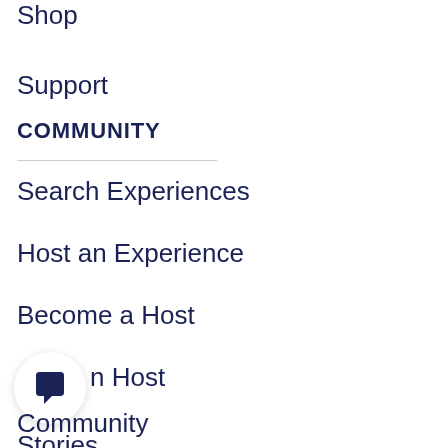Shop
Support
COMMUNITY
Search Experiences
Host an Experience
Become a Host
n Host
[Figure (illustration): Chat bubble icon in a white circular button with shadow]
Community
Stories